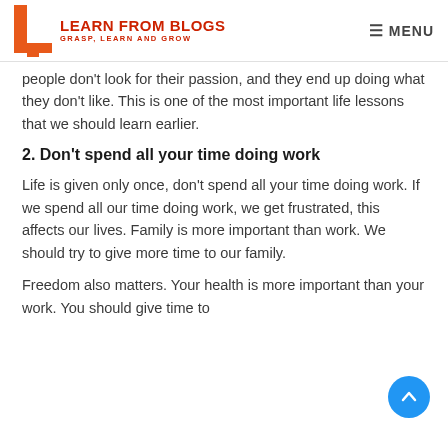LEARN FROM BLOGS — GRASP, LEARN AND GROW | MENU
people don't look for their passion, and they end up doing what they don't like. This is one of the most important life lessons that we should learn earlier.
2. Don't spend all your time doing work
Life is given only once, don't spend all your time doing work. If we spend all our time doing work, we get frustrated, this affects our lives. Family is more important than work. We should try to give more time to our family.
Freedom also matters. Your health is more important than your work. You should give time to